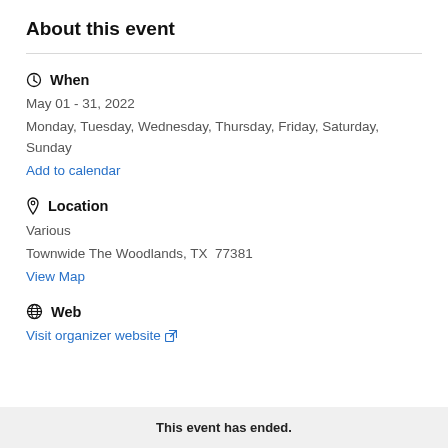About this event
When
May 01 - 31, 2022
Monday, Tuesday, Wednesday, Thursday, Friday, Saturday, Sunday
Add to calendar
Location
Various
Townwide The Woodlands, TX  77381
View Map
Web
Visit organizer website ↗
This event has ended.